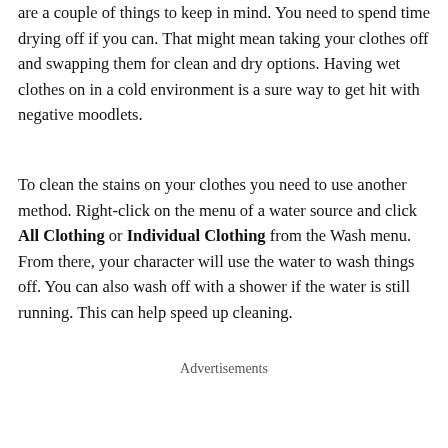are a couple of things to keep in mind. You need to spend time drying off if you can. That might mean taking your clothes off and swapping them for clean and dry options. Having wet clothes on in a cold environment is a sure way to get hit with negative moodlets.
To clean the stains on your clothes you need to use another method. Right-click on the menu of a water source and click All Clothing or Individual Clothing from the Wash menu. From there, your character will use the water to wash things off. You can also wash off with a shower if the water is still running. This can help speed up cleaning.
Advertisements